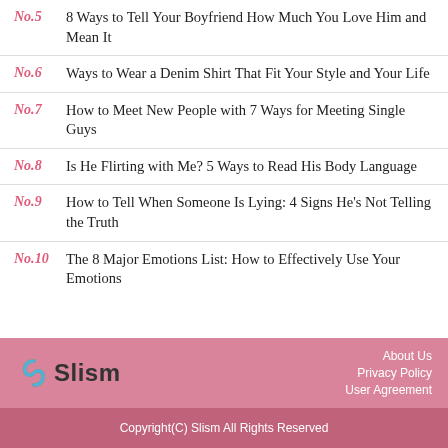No.5  8 Ways to Tell Your Boyfriend How Much You Love Him and Mean It
No.6  Ways to Wear a Denim Shirt That Fit Your Style and Your Life
No.7  How to Meet New People with 7 Ways for Meeting Single Guys
No.8  Is He Flirting with Me? 5 Ways to Read His Body Language
No.9  How to Tell When Someone Is Lying: 4 Signs He's Not Telling the Truth
No.10  The 8 Major Emotions List: How to Effectively Use Your Emotions
[Figure (logo): Slism logo with a circular icon]
About Us
Privacy Policy
User Agreement
Copyright(C) Slism All Rights Reserved